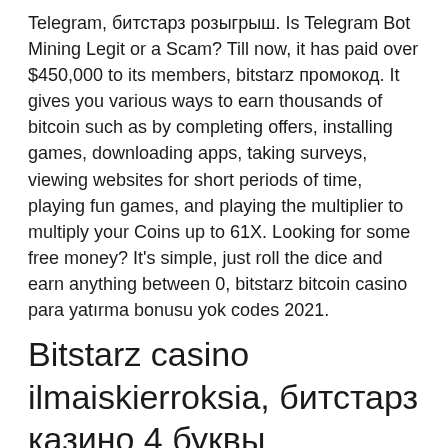Telegram, битстарз розыгрыш. Is Telegram Bot Mining Legit or a Scam? Till now, it has paid over $450,000 to its members, bitstarz промокод. It gives you various ways to earn thousands of bitcoin such as by completing offers, installing games, downloading apps, taking surveys, viewing websites for short periods of time, playing fun games, and playing the multiplier to multiply your Coins up to 61X. Looking for some free money? It's simple, just roll the dice and earn anything between 0, bitstarz bitcoin casino para yatırma bonusu yok codes 2021.
Bitstarz casino ilmaiskierroksia, битстарз казино 4 буквы